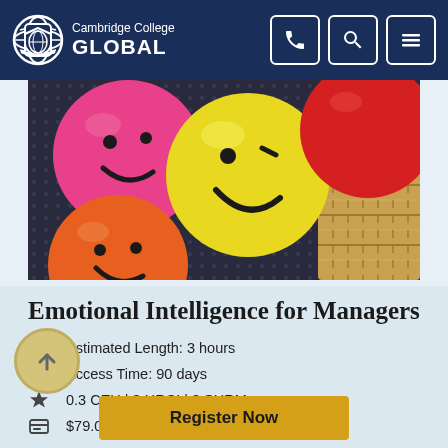Cambridge College GLOBAL
[Figure (photo): Colorful smiley face balls in a basket — pink, yellow, orange, red smileys on a dotted background inside a wicker basket]
Emotional Intelligence for Managers
Estimated Length: 3 hours
Access Time: 90 days
0.3 CEU | 3 HRCI | 3 SHRM
$79.00
Register Now